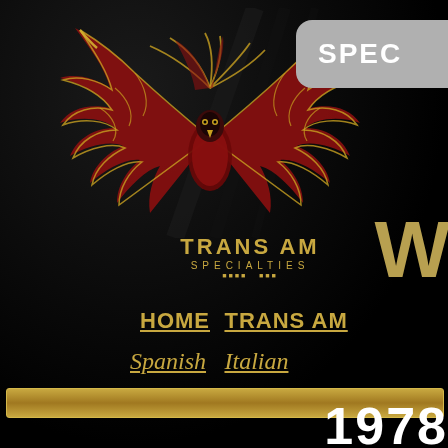[Figure (logo): Trans Am Specialties logo — Pontiac Firebird phoenix emblem in red and gold on dark background, with 'TRANS AM SPECIALTIES' text below in gold]
[Figure (other): Partially visible gray rounded badge/button with white bold text 'SPEC' (cut off), positioned top right]
[Figure (other): Partially visible large gold letter 'W' on right side of page]
HOME  TRANS AM
Spanish   Italian
[Figure (other): Horizontal gold/tan gradient bar spanning most of page width]
1978